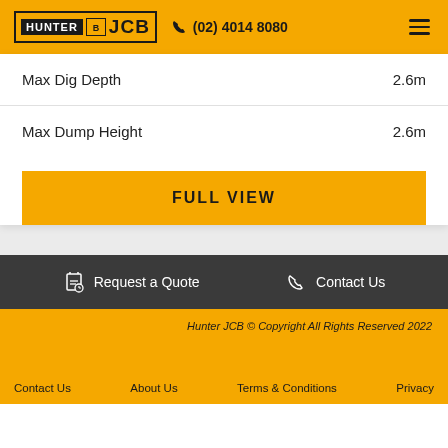HUNTER JCB  (02) 4014 8080
| Spec | Value |
| --- | --- |
| Max Dig Depth | 2.6m |
| Max Dump Height | 2.6m |
FULL VIEW
Request a Quote
Contact Us
Hunter JCB © Copyright All Rights Reserved 2022
Contact Us
About Us
Terms & Conditions
Privacy